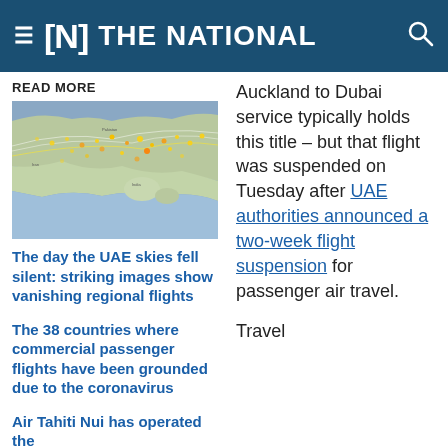≡ [N] THE NATIONAL
READ MORE
[Figure (map): Map showing flight paths and aircraft positions over the Middle East and South Asia region, with yellow and orange dots indicating aircraft density.]
The day the UAE skies fell silent: striking images show vanishing regional flights
The 38 countries where commercial passenger flights have been grounded due to the coronavirus
Air Tahiti Nui has operated the
Auckland to Dubai service typically holds this title – but that flight was suspended on Tuesday after UAE authorities announced a two-week flight suspension for passenger air travel.
Travel